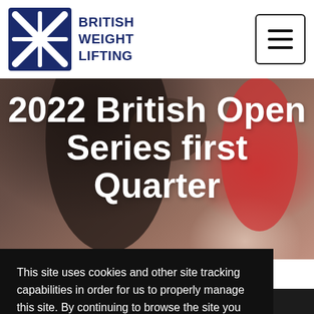BRITISH WEIGHT LIFTING
[Figure (photo): Weightlifter performing a lift, background image behind large white title text]
2022 British Open Series first Quarter
This site uses cookies and other site tracking capabilities in order for us to properly manage this site. By continuing to browse the site you are agreeing to our use of site tracking. For more details click here
Declines
Agree
and offensive music in the back ground